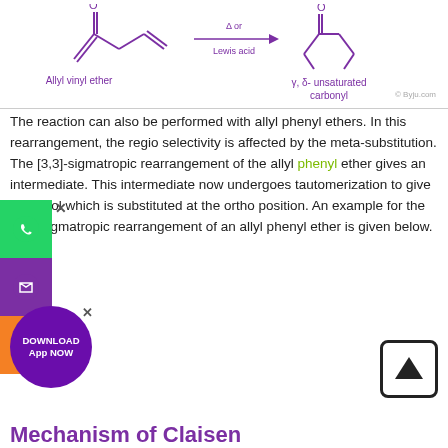[Figure (engineering-diagram): Chemical reaction diagram showing Allyl vinyl ether converting to gamma-delta unsaturated carbonyl via Delta or Lewis acid conditions, with structural formulas shown.]
The reaction can also be performed with allyl phenyl ethers. In this rearrangement, the regio selectivity is affected by the meta-substitution. The [3,3]-sigmatropic rearrangement of the allyl phenyl ether gives an intermediate. This intermediate now undergoes tautomerization to give a phenol which is substituted at the ortho position. An example for the [3,3]-sigmatropic rearrangement of an allyl phenyl ether is given below.
Mechanism of Claisen